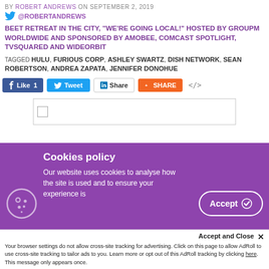BY ROBERT ANDREWS ON SEPTEMBER 2, 2019
@ROBERTANDREWS
BEET RETREAT IN THE CITY, “WE’RE GOING LOCAL!” HOSTED BY GROUPM WORLDWIDE AND SPONSORED BY AMOBEE, COMCAST SPOTLIGHT, TVSQUARED AND WIDEORBIT
TAGGED HULU, FURIOUS CORP, ASHLEY SWARTZ, DISH NETWORK, SEAN ROBERTSON, ANDREA ZAPATA, JENNIFER DONOHUE
[Figure (screenshot): Social share buttons: Facebook Like 1, Tweet, LinkedIn Share, Orange Share button, and embed code button]
[Figure (photo): Broken image placeholder with small broken image icon]
Cookies policy
Our website uses cookies to analyse how the site is used and to ensure your experience is
[Figure (illustration): Cookie icon (circle with dots)]
Accept
Accept and Close ×
Your browser settings do not allow cross-site tracking for advertising. Click on this page to allow AdRoll to use cross-site tracking to tailor ads to you. Learn more or opt out of this AdRoll tracking by clicking here. This message only appears once.